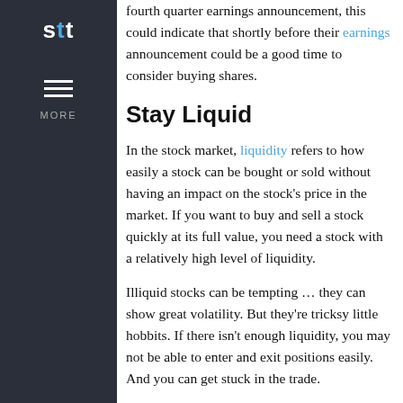stt
fourth quarter earnings announcement, this could indicate that shortly before their earnings announcement could be a good time to consider buying shares.
Stay Liquid
In the stock market, liquidity refers to how easily a stock can be bought or sold without having an impact on the stock’s price in the market. If you want to buy and sell a stock quickly at its full value, you need a stock with a relatively high level of liquidity.
Illiquid stocks can be tempting … they can show great volatility. But they’re tricksy little hobbits. If there isn’t enough liquidity, you may not be able to enter and exit positions easily. And you can get stuck in the trade.